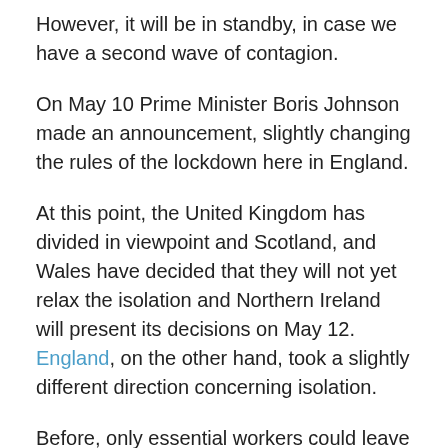However, it will be in standby, in case we have a second wave of contagion.
On May 10 Prime Minister Boris Johnson made an announcement, slightly changing the rules of the lockdown here in England.
At this point, the United Kingdom has divided in viewpoint and Scotland, and Wales have decided that they will not yet relax the isolation and Northern Ireland will present its decisions on May 12. England, on the other hand, took a slightly different direction concerning isolation.
Before, only essential workers could leave for work and now, if you really can't work from home and the workplace follows all the rules of distance, safety and hygiene, they